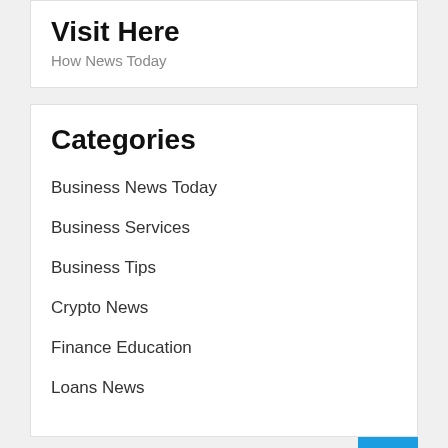Visit Here
How News Today
Categories
Business News Today
Business Services
Business Tips
Crypto News
Finance Education
Loans News